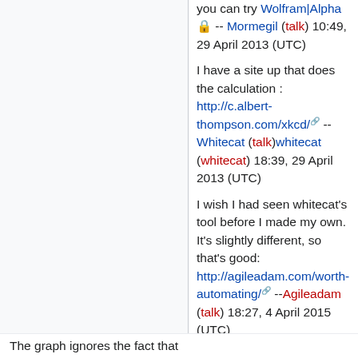you can try Wolfram|Alpha 🔒 -- Mormegil (talk) 10:49, 29 April 2013 (UTC)
I have a site up that does the calculation : http://c.albert-thompson.com/xkcd/ 🔗 -- Whitecat (talk)whitecat (whitecat) 18:39, 29 April 2013 (UTC)
I wish I had seen whitecat's tool before I made my own. It's slightly different, so that's good: http://agileadam.com/worth-automating/ 🔗 --Agileadam (talk) 18:27, 4 April 2015 (UTC)
The graph ignores the fact that